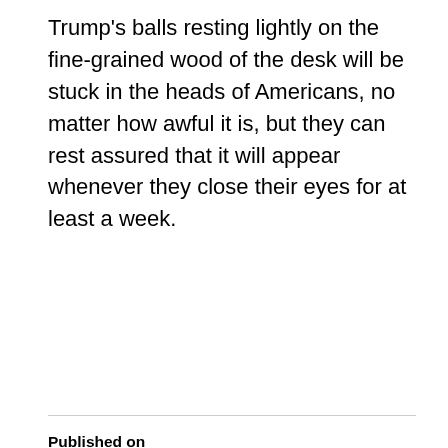Trump's balls resting lightly on the fine-grained wood of the desk will be stuck in the heads of Americans, no matter how awful it is, but they can rest assured that it will appear whenever they close their eyes for at least a week.
Published on
28 November 2016
AUTHOR
Skanky Bobby
TAGS
89th and 90th testicles,
Associated Press talked to Donald Trump about this,